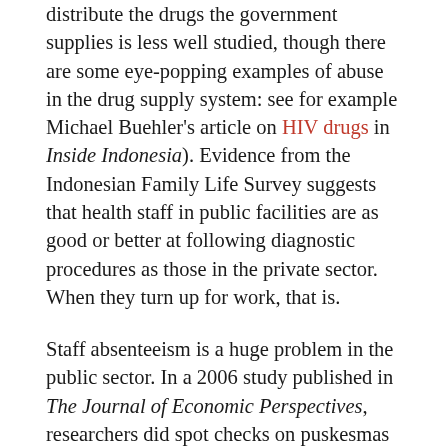distribute the drugs the government supplies is less well studied, though there are some eye-popping examples of abuse in the drug supply system: see for example Michael Buehler's article on HIV drugs in Inside Indonesia). Evidence from the Indonesian Family Life Survey suggests that health staff in public facilities are as good or better at following diagnostic procedures as those in the private sector. When they turn up for work, that is.
Staff absenteeism is a huge problem in the public sector. In a 2006 study published in The Journal of Economic Perspectives, researchers did spot checks on puskesmas in 10 provinces and found that 40 per cent of staff were not at work; doctors were more likely to be missing than nurses or midwives. The government has tried to address this problem by obliging recent graduates from medical school to do at least six months on a relatively well-paid temporary contract in a remote area, but this